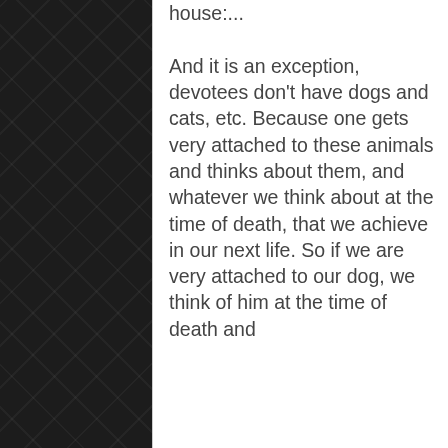house:...

And it is an exception, devotees don't have dogs and cats, etc. Because one gets very attached to these animals and thinks about them, and whatever we think about at the time of death, that we achieve in our next life. So if we are very attached to our dog, we think of him at the time of death and